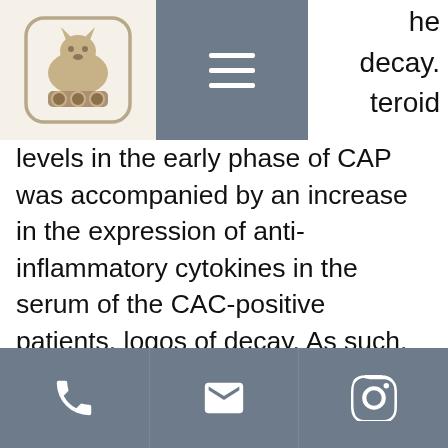[Figure (logo): App logo with stylized mountain/animal icon on beige background]
[Figure (other): Hamburger menu button on dark grey background]
he
decay.
teroid
levels in the early phase of CAP was accompanied by an increase in the expression of anti-inflammatory cytokines in the serum of the CAC-positive patients, logos of decay. As such, the data in this study also suggest that the effect of the acute inflammatory response on cortisol could be mediated, at a cellular level, by the presence of a pro-inflammatory cytokine, as observed in the patients with CAP in this study, steroid use in baseball. In a similar way, it is possible that the increase in the level of circulating immune cells also contributes to the increase in circulating PCT levels observed in this study. To our knowledge, no study has examined whether
[Figure (other): Bottom navigation bar with phone, email, and Instagram icons]